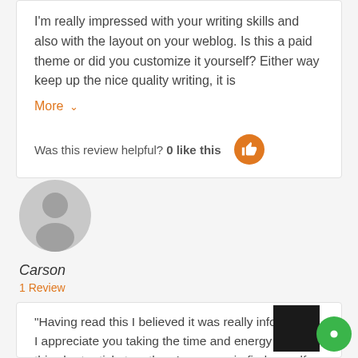I'm really impressed with your writing skills and also with the layout on your weblog. Is this a paid theme or did you customize it yourself? Either way keep up the nice quality writing, it is
More ˅
Was this review helpful? 0 like this
[Figure (illustration): Gray silhouette avatar icon of a person]
Carson
1 Review
"Having read this I believed it was really informative. I appreciate you taking the time and energy to put this short article together. I once again find myself spending a lot of time both reading and commenting. But so what, it was still worthwhile! My web-site; https://tinyurl.com/rsacwg"
Having read this I believed it was really informative. I